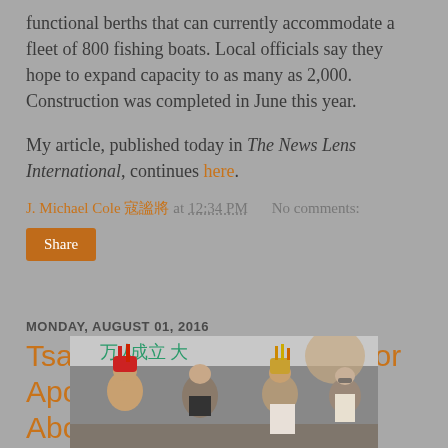functional berths that can currently accommodate a fleet of 800 fishing boats. Local officials say they hope to expand capacity to as many as 2,000. Construction was completed in June this year.
My article, published today in The News Lens International, continues here.
J. Michael Cole 寇謐將 at 12:34 PM   No comments:
Share
MONDAY, AUGUST 01, 2016
Tsai Gets Passing Grade for Apology to Taiwan's Aborigines
[Figure (photo): Group photo showing Tsai Ing-wen with Aboriginal leaders wearing traditional attire including colorful headdresses, at an event with Chinese characters on a banner in background]